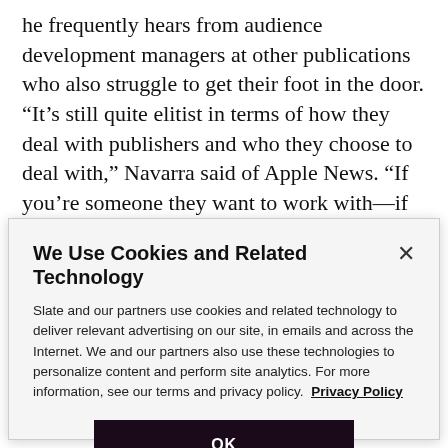he frequently hears from audience development managers at other publications who also struggle to get their foot in the door. “It’s still quite elitist in terms of how they deal with publishers and who they choose to deal with,” Navarra said of Apple News. “If you’re someone they want to work with—if you’re the New York Times, or the top tier—you’ll hear from them. If you’re somewhere down the pecking order, I get the impression that you have to find your own way in.”
We Use Cookies and Related Technology
Slate and our partners use cookies and related technology to deliver relevant advertising on our site, in emails and across the Internet. We and our partners also use these technologies to personalize content and perform site analytics. For more information, see our terms and privacy policy.  Privacy Policy
OK